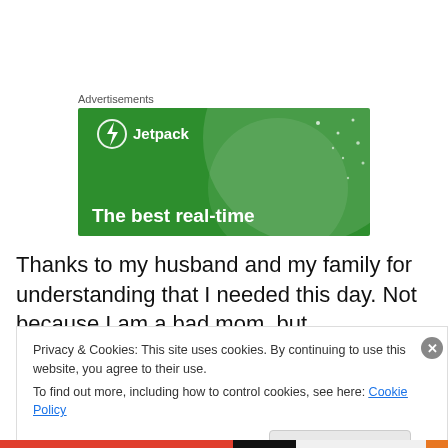Advertisements
[Figure (illustration): Jetpack advertisement banner with green background, Jetpack logo (lightning bolt icon in circle with 'Jetpack' text), large translucent circle decoration, white dot accents, and tagline 'The best real-time']
Thanks to my husband and my family for understanding that I needed this day. Not because I am a bad mom, but
Privacy & Cookies: This site uses cookies. By continuing to use this website, you agree to their use.
To find out more, including how to control cookies, see here: Cookie Policy
Close and accept